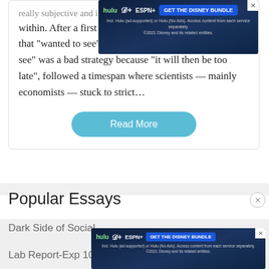really subjective and implying a wide range of shades within. After a first period of cyberoptimism, people that "wanted to see" and people that thought "waiting to see" was a bad strategy because "it will then be too late", followed a timespan where scientists — mainly economists — stuck to strict…
Read More
Popular Essays
Dark Side of Social...
Lab Report-Exp 104